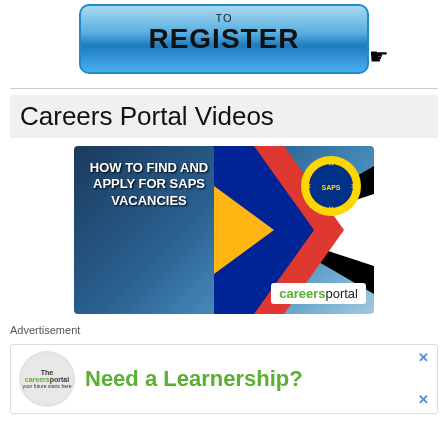[Figure (screenshot): Blue gradient button with text 'click here TO REGISTER' and a cursor/hand pointer icon]
Careers Portal Videos
[Figure (screenshot): Video thumbnail showing South African flag and SAPS badge with text 'HOW TO FIND AND APPLY FOR SAPS VACANCIES' and careersportal branding]
Advertisement
[Figure (screenshot): Advertisement banner: Careers Portal logo and text 'Need a Learnership?' in green on white background with close buttons]